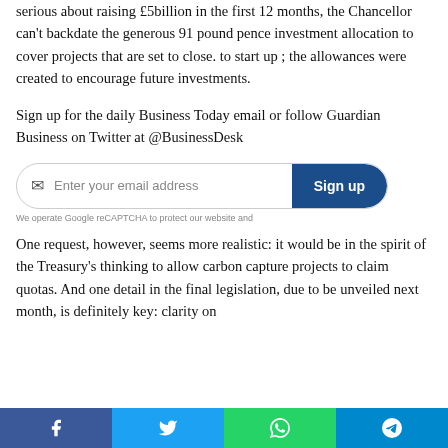serious about raising £5billion in the first 12 months, the Chancellor can't backdate the generous 91 pound pence investment allocation to cover projects that are set to close. to start up ; the allowances were created to encourage future investments.
Sign up for the daily Business Today email or follow Guardian Business on Twitter at @BusinessDesk
[Figure (other): Email signup form with 'Enter your email address' input and 'Sign up' button, plus reCAPTCHA notice]
One request, however, seems more realistic: it would be in the spirit of the Treasury's thinking to allow carbon capture projects to claim quotas. And one detail in the final legislation, due to be unveiled next month, is definitely key: clarity on
Facebook | Twitter | WhatsApp | Telegram share buttons